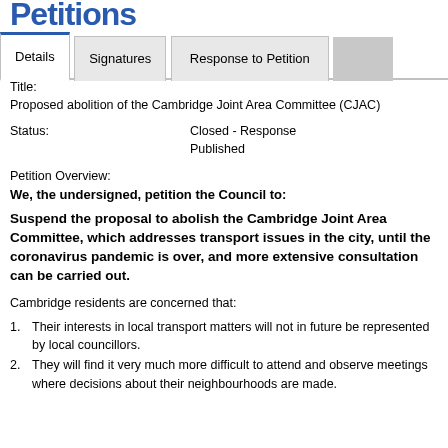Petitions
Details | Signatures | Response to Petition
Title:
Proposed abolition of the Cambridge Joint Area Committee (CJAC)
Status:
Closed - Response Published
Petition Overview:
We, the undersigned, petition the Council to:
Suspend the proposal to abolish the Cambridge Joint Area Committee, which addresses transport issues in the city, until the coronavirus pandemic is over, and more extensive consultation can be carried out.
Cambridge residents are concerned that:
Their interests in local transport matters will not in future be represented by local councillors.
They will find it very much more difficult to attend and observe meetings where decisions about their neighbourhoods are made.